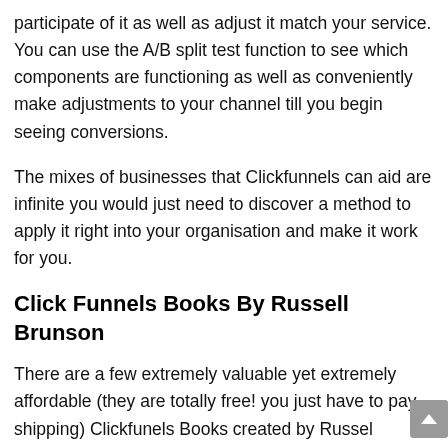participate of it as well as adjust it match your service. You can use the A/B split test function to see which components are functioning as well as conveniently make adjustments to your channel till you begin seeing conversions.
The mixes of businesses that Clickfunnels can aid are infinite you would just need to discover a method to apply it right into your organisation and make it work for you.
Click Funnels Books By Russell Brunson
There are a few extremely valuable yet extremely affordable (they are totally free! you just have to pay shipping) Clickfunels Books created by Russel Brunson the Clickfunnels designer. These publications can massively help with your Clickfunnels Testimonial journey as well as likewise assis